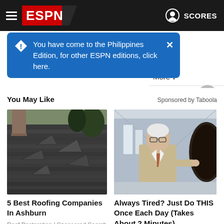ESPN — SCORES
You have come to the Philippines Edition, for other ESPN editions, click here.
More ∨
You May Like
Sponsored by Taboola
[Figure (photo): Damaged roof shingles, showing buckled and broken asphalt shingles on a residential rooftop]
5 Best Roofing Companies In Ashburn
Roof Restoration | Sponsored Search
[Figure (photo): Older man in suit pointing at something dark, standing in a hallway]
Always Tired? Just Do THIS Once Each Day (Takes About 2 Minutes)
Gundry MD